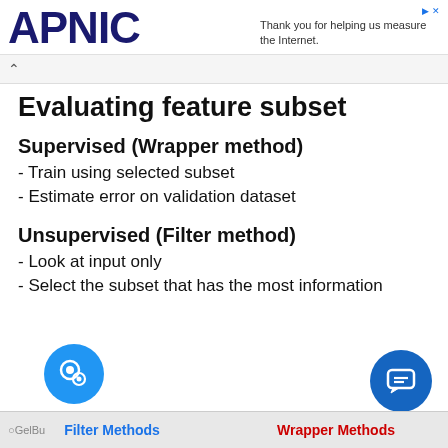APNIC — Thank you for helping us measure the Internet.
Evaluating feature subset
Supervised (Wrapper method)
- Train using selected subset
- Estimate error on validation dataset
Unsupervised (Filter method)
- Look at input only
- Select the subset that has the most information
Filter Methods    Wrapper Methods